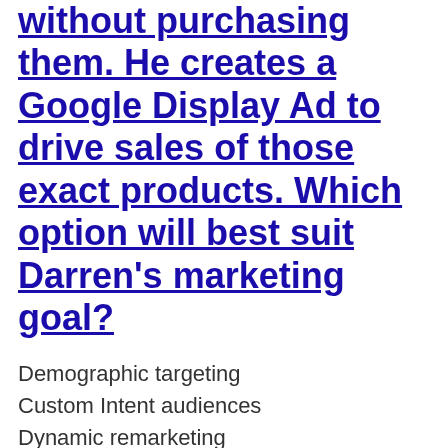without purchasing them. He creates a Google Display Ad to drive sales of those exact products. Which option will best suit Darren's marketing goal?
Demographic targeting
Custom Intent audiences
Dynamic remarketing
Affinity Audiences
What is a valid recommendation that the